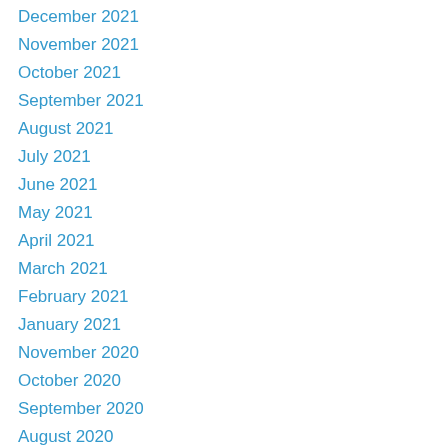December 2021
November 2021
October 2021
September 2021
August 2021
July 2021
June 2021
May 2021
April 2021
March 2021
February 2021
January 2021
November 2020
October 2020
September 2020
August 2020
June 2020
May 2020
April 2020
March 2020